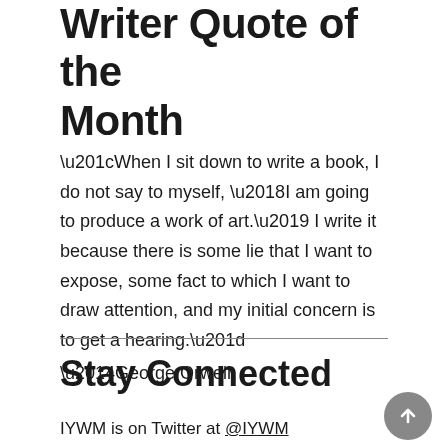Writer Quote of the Month
“When I sit down to write a book, I do not say to myself, ‘I am going to produce a work of art.’ I write it because there is some lie that I want to expose, some fact to which I want to draw attention, and my initial concern is to get a hearing.”
—George Orwell
Stay Connected
IYWM is on Twitter at @IYWM
Follow us to stay up to date with the IYWM